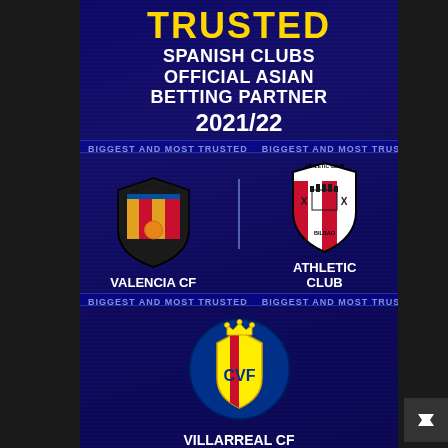TRUSTED
SPANISH CLUBS OFFICIAL ASIAN BETTING PARTNER 2021/22
[Figure (logo): Valencia CF club badge/crest - orange and red stripes with bat on top]
VALENCIA CF
[Figure (logo): Athletic Club Bilbao badge/crest - red and white stripes with castle]
ATHLETIC CLUB
[Figure (logo): Villarreal CF badge/crest - blue circle with yellow CVF letters and crown]
VILLARREAL CF